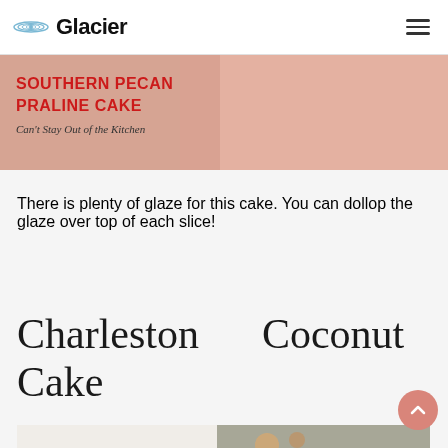Glacier
[Figure (photo): Partial image of Southern Pecan Praline Cake with red text overlay reading 'SOUTHERN PECAN PRALINE CAKE' and subtitle 'Can't Stay Out of the Kitchen']
There is plenty of glaze for this cake. You can dollop the glaze over top of each slice!
Charleston Coconut Cake
[Figure (photo): Close-up photo of Charleston Coconut Cake slice on a blue plate, showing white frosting and toasted coconut flakes]